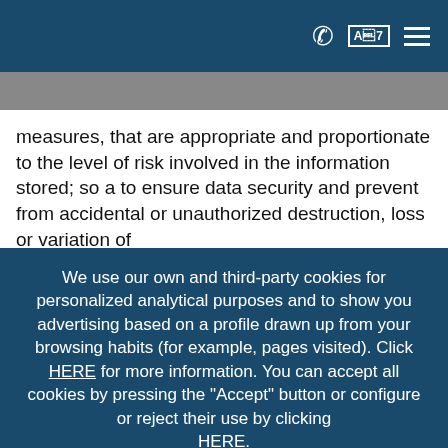Navigation bar with phone, language (A7), and menu icons
measures, that are appropriate and proportionate to the level of risk involved in the information stored; so a to ensure data security and prevent from accidental or unauthorized destruction, loss or variation of
We use our own and third-party cookies for personalized analytical purposes and to show you advertising based on a profile drawn up from your browsing habits (for example, pages visited). Click HERE for more information. You can accept all cookies by pressing the "Accept" button or configure or reject their use by clicking HERE.